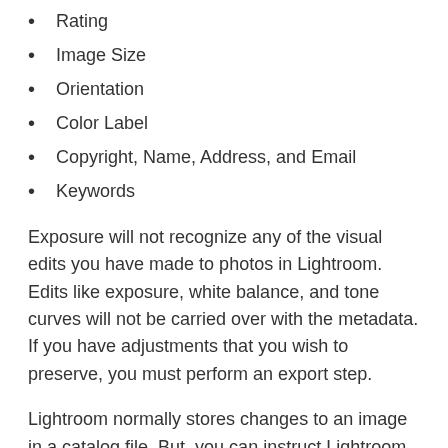Rating
Image Size
Orientation
Color Label
Copyright, Name, Address, and Email
Keywords
Exposure will not recognize any of the visual edits you have made to photos in Lightroom. Edits like exposure, white balance, and tone curves will not be carried over with the metadata. If you have adjustments that you wish to preserve, you must perform an export step.
Lightroom normally stores changes to an image in a catalog file. But, you can instruct Lightroom to write those changes to a location Exposure can access.
Once you've done that, Exposure will read Lightroom's information and put it in a new Exposure